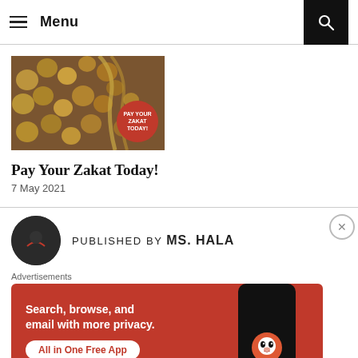Menu
[Figure (photo): A pile of coins with a red circular badge reading 'Pay Your Zakat Today!']
Pay Your Zakat Today!
7 May 2021
PUBLISHED BY MS. HALA
Advertisements
[Figure (screenshot): DuckDuckGo advertisement banner: 'Search, browse, and email with more privacy. All in One Free App' with a phone showing DuckDuckGo logo]